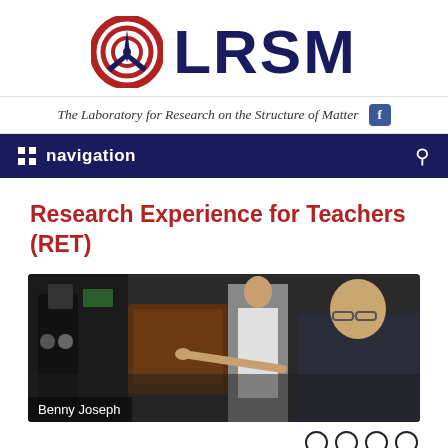[Figure (logo): LRSM logo: circular red and white concentric rings with a dark blue trident/arrow symbol, beside large bold dark blue text 'LRSM']
The Laboratory for Research on the Structure of Matter
Research Experience for Teachers (RET)
[Figure (photo): Two people in a laboratory setting looking at a computer screen. Person on the right is wearing glasses and a dark suit, person in the middle wears a white lab coat. Caption: Benny Joseph]
Benny Joseph